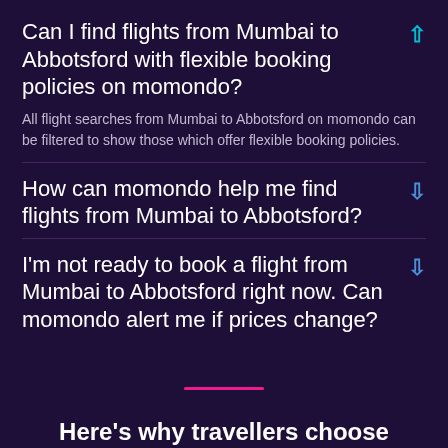Can I find flights from Mumbai to Abbotsford with flexible booking policies on momondo?
All flight searches from Mumbai to Abbotsford on momondo can be filtered to show those which offer flexible booking policies.
How can momondo help me find flights from Mumbai to Abbotsford?
I'm not ready to book a flight from Mumbai to Abbotsford right now. Can momondo alert me if prices change?
Here's why travellers choose